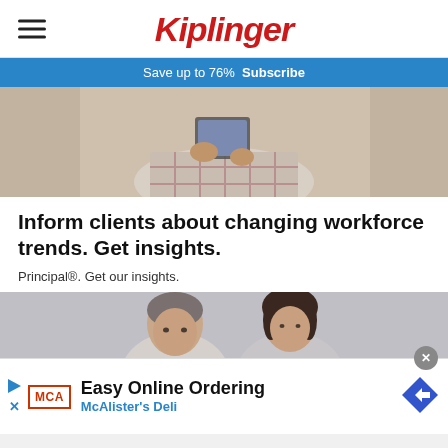Kiplinger
Save up to 76%  Subscribe
[Figure (photo): Person holding a tablet device, wearing a light sweater with plaid pattern]
Inform clients about changing workforce trends. Get insights.
Principal®. Get our insights.
[Figure (photo): Two people (a man and a woman) photographed from shoulders up against gray background]
[Figure (infographic): Banner advertisement for McAlister's Deli with Easy Online Ordering text, MCA logo, play button icon, and blue diamond arrow icon]
Easy Online Ordering
McAlister's Deli